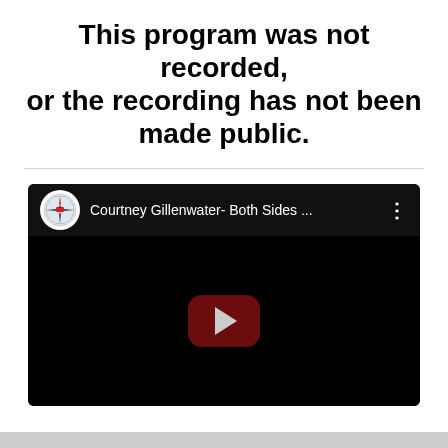This program was not recorded, or the recording has not been made public.
[Figure (screenshot): Embedded YouTube video player with black background showing a channel logo (compass/ship icon), title 'Courtney Gillenwater- Both Sides ...', three-dot menu icon, and a dark red YouTube play button in the center of the video area.]